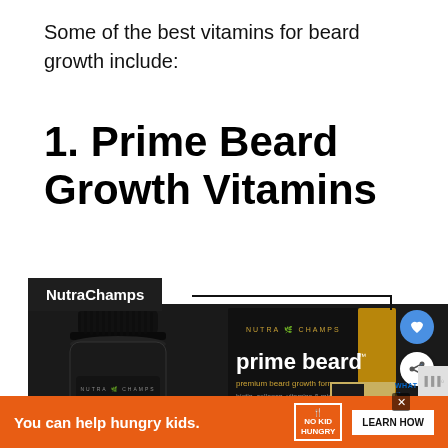Some of the best vitamins for beard growth include:
1. Prime Beard Growth Vitamins
[Figure (photo): Product photo of NutraChamps Prime Beard vitamin bottle (dark glass bottle) alongside its packaging box (black and gold with 'prime beard' text, 'premium beard growth formula', 'biotin, collagen, vitamins & minerals'). Shows NutraChamps branding. Includes heart and share icons on the right side.]
WHAT'S NEXT → 8 Best Beard Growth...
You can help hungry kids.
LEARN HOW